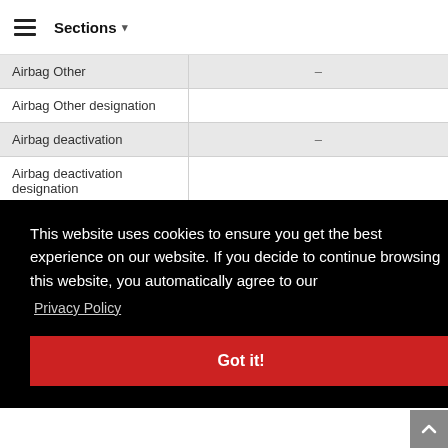≡  Sections ▾
| Field | Value |
| --- | --- |
| Airbag Other | – |
| Airbag Other designation |  |
| Airbag deactivation | – |
| Airbag deactivation designation |  |
| Rear head restraints | – |
This website uses cookies to ensure you get the best experience on our website. If you decide to continue browsing this website, you automatically agree to our
Privacy Policy
Got it!